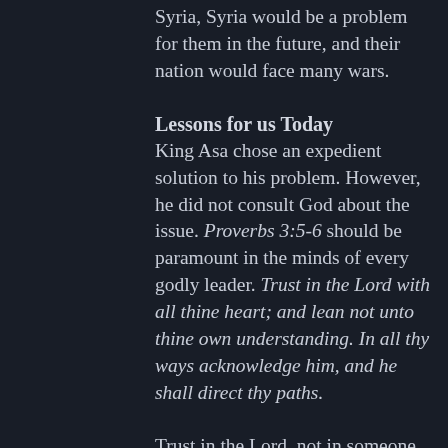since he had partnered with the king of Syria, Syria would be a problem for them in the future, and their nation would face many wars.
Lessons for us Today
King Asa chose an expedient solution to his problem. However, he did not consult God about the issue. Proverbs 3:5-6 should be paramount in the minds of every godly leader. Trust in the Lord with all thine heart; and lean not unto thine own understanding. In all thy ways acknowledge him, and he shall direct thy paths.
Trust in the Lord, not in someone who is ready to make a deal with you. That person or nation may be willing to help